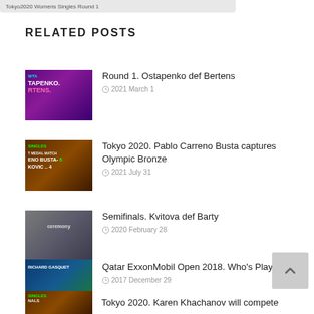Tokyo2020 Womens Singles Round 1
RELATED POSTS
[Figure (photo): Tennis scoreboard showing TAPENKO vs RTENS with purple background]
Round 1. Ostapenko def Bertens
2021 March 1
[Figure (photo): Tennis scoreboard showing singles medal match ENO BUSTA 6 vs KOVIC 4]
Tokyo 2020. Pablo Carreno Busta captures Olympic Bronze
2021 July 31
[Figure (photo): Person receiving award or medal at ceremony, grey/purple background]
Semifinals. Kvitova def Barty
2020 February 28
[Figure (photo): Man in suit holding trophy, Richard Gasquet label, blue and green background]
Qatar ExxonMobil Open 2018. Who's Playing?
2017 December 29
[Figure (photo): Singles finals scoreboard tennis]
Tokyo 2020. Karen Khachanov will compete